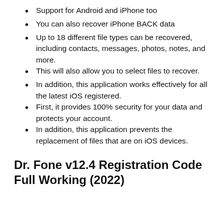Support for Android and iPhone too
You can also recover iPhone BACK data
Up to 18 different file types can be recovered, including contacts, messages, photos, notes, and more.
This will also allow you to select files to recover.
In addition, this application works effectively for all the latest iOS registered.
First, it provides 100% security for your data and protects your account.
In addition, this application prevents the replacement of files that are on iOS devices.
Dr. Fone v12.4 Registration Code Full Working (2022)